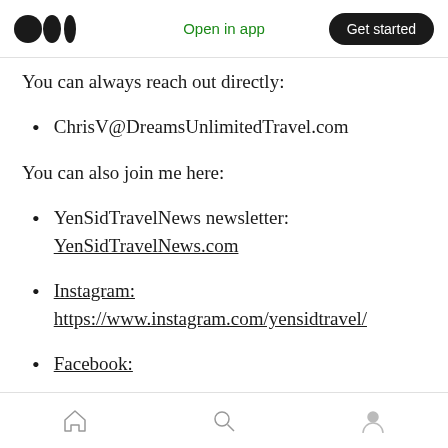Open in app | Get started
You can always reach out directly:
ChrisV@DreamsUnlimitedTravel.com
You can also join me here:
YenSidTravelNews newsletter: YenSidTravelNews.com
Instagram: https://www.instagram.com/yensidtravel/
Facebook:
Home | Search | Profile